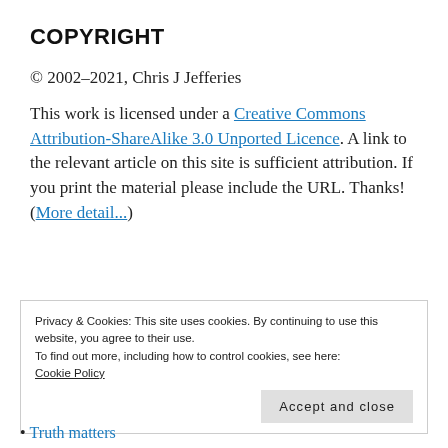COPYRIGHT
© 2002–2021, Chris J Jefferies
This work is licensed under a Creative Commons Attribution-ShareAlike 3.0 Unported Licence. A link to the relevant article on this site is sufficient attribution. If you print the material please include the URL. Thanks! (More detail...)
Privacy & Cookies: This site uses cookies. By continuing to use this website, you agree to their use.
To find out more, including how to control cookies, see here:
Cookie Policy
Accept and close
Truth matters